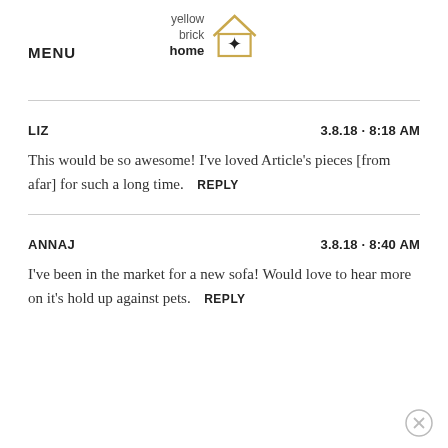MENU | yellow brick home logo
LIZ — 3.8.18 · 8:18 AM
This would be so awesome! I've loved Article's pieces [from afar] for such a long time. REPLY
ANNAJ — 3.8.18 · 8:40 AM
I've been in the market for a new sofa! Would love to hear more on it's hold up against pets. REPLY